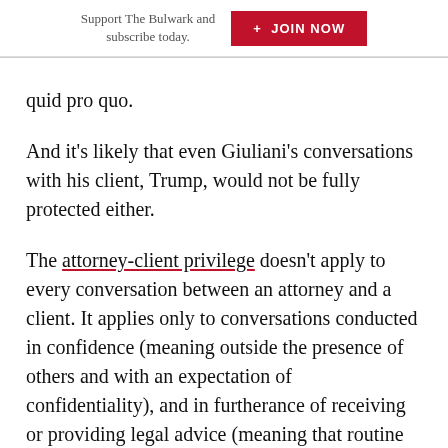Support The Bulwark and subscribe today. + JOIN NOW
quid pro quo.
And it's likely that even Giuliani's conversations with his client, Trump, would not be fully protected either.
The attorney-client privilege doesn't apply to every conversation between an attorney and a client. It applies only to conversations conducted in confidence (meaning outside the presence of others and with an expectation of confidentiality), and in furtherance of receiving or providing legal advice (meaning that routine conversations